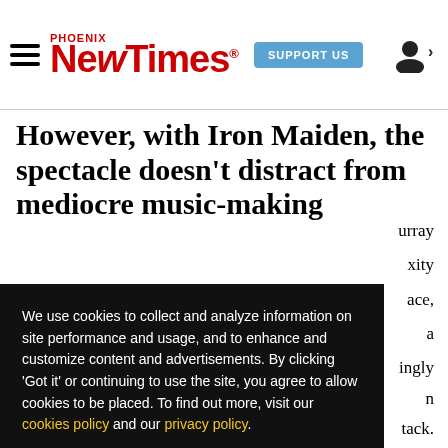Phoenix New Times — SUPPORT US
However, with Iron Maiden, the spectacle doesn't distract from mediocre music-making
…urray …xity …ace, …a …ingly …n …tack.
We use cookies to collect and analyze information on site performance and usage, and to enhance and customize content and advertisements. By clicking 'Got it' or continuing to use the site, you agree to allow cookies to be placed. To find out more, visit our cookies policy and our privacy policy.
Got it!
Dickinson impressively prolongs notes with his